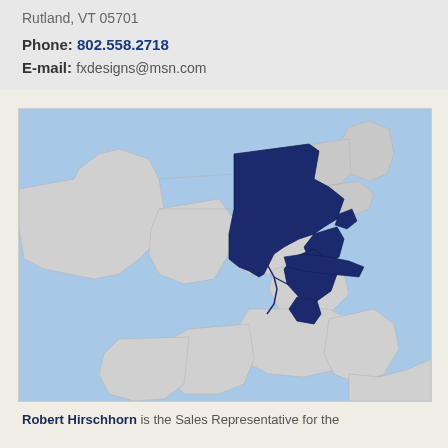Rutland, VT 05701
Phone: 802.558.2718
E-mail: fxdesigns@msn.com
[Figure (map): Map of the northeastern United States showing several states highlighted in dark navy blue (New York, Connecticut, New Jersey, and surrounding area), with the rest of the eastern US states in grey and water/background in light blue.]
Robert Hirschhorn is the Sales Representative for the